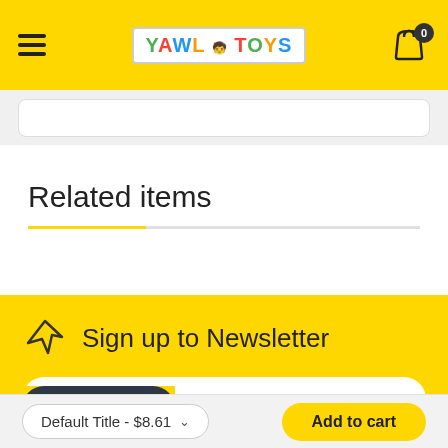YAWL TOYS - navigation bar with hamburger menu, logo, and cart icon
Related items
Sign up to Newsletter
Enter your email address
Submit
Default Title - $8.61
Add to cart